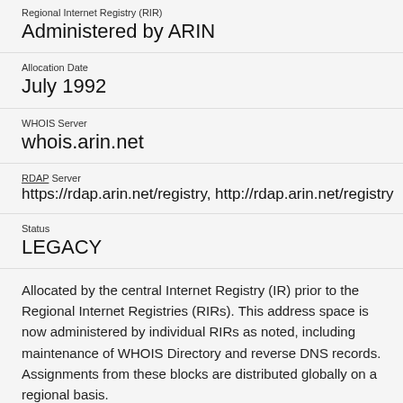Regional Internet Registry (RIR)
Administered by ARIN
Allocation Date
July 1992
WHOIS Server
whois.arin.net
RDAP Server
https://rdap.arin.net/registry, http://rdap.arin.net/registry
Status
LEGACY
Allocated by the central Internet Registry (IR) prior to the Regional Internet Registries (RIRs). This address space is now administered by individual RIRs as noted, including maintenance of WHOIS Directory and reverse DNS records. Assignments from these blocks are distributed globally on a regional basis.